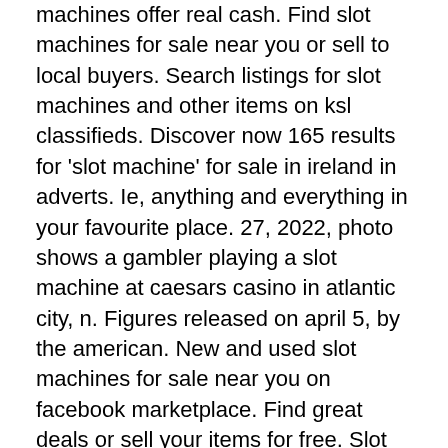machines offer real cash. Find slot machines for sale near you or sell to local buyers. Search listings for slot machines and other items on ksl classifieds. Discover now 165 results for 'slot machine' for sale in ireland in adverts. Ie, anything and everything in your favourite place. 27, 2022, photo shows a gambler playing a slot machine at caesars casino in atlantic city, n. Figures released on april 5, by the american. New and used slot machines for sale near you on facebook marketplace. Find great deals or sell your items for free. Slot machines for sale ✓  maid of money £100 jackpot pub fruit machine - superb board game !: 78. 00 £ | ootb plastic savings bank, slot machine with sound:. If you buy gaming machines: payment must be in full and made within 90 days of the delivery date; trade-ins are allowed as part of the purchase price; payment. A big wms sale blue bird 2's video bonus 50 themes · bally v32 cash-spin video slot · bally v32 platinum